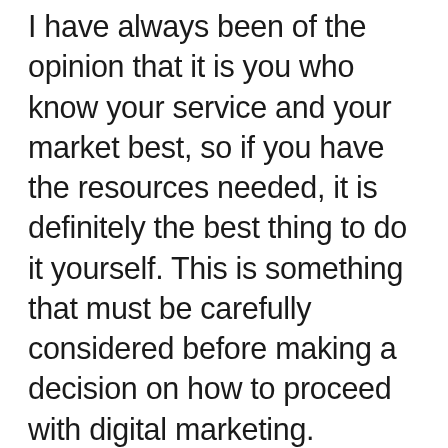I have always been of the opinion that it is you who know your service and your market best, so if you have the resources needed, it is definitely the best thing to do it yourself. This is something that must be carefully considered before making a decision on how to proceed with digital marketing.